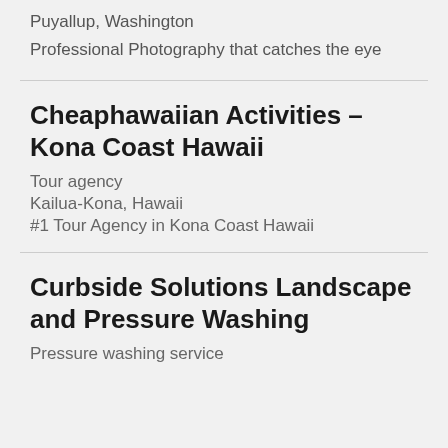Puyallup, Washington
Professional Photography that catches the eye
Cheaphawaiian Activities – Kona Coast Hawaii
Tour agency
Kailua-Kona, Hawaii
#1 Tour Agency in Kona Coast Hawaii
Curbside Solutions Landscape and Pressure Washing
Pressure washing service